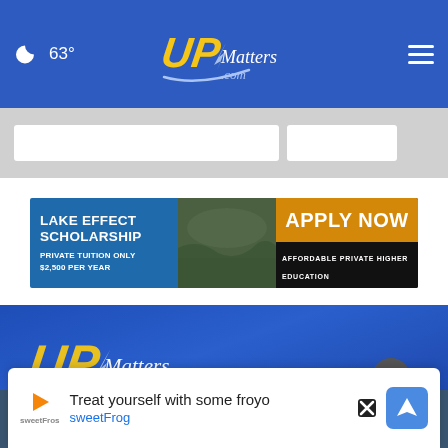63° UPMatters.com
[Figure (screenshot): Search bar area with white input box and search button on gray background]
[Figure (infographic): Lake Effect Scholarship advertisement banner: LAKE EFFECT SCHOLARSHIP - Private Tuition Only $2,500 Per Year - Apply Now - Affordable Private Higher Education]
[Figure (logo): UPMatters.com logo on blue background in footer section]
Follow Us
[Figure (screenshot): SweetFrog advertisement: Treat yourself with some froyo - sweetFrog]